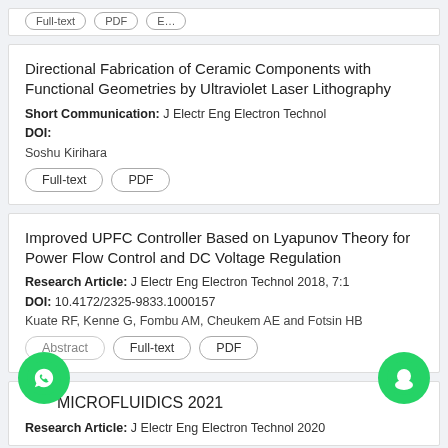Directional Fabrication of Ceramic Components with Functional Geometries by Ultraviolet Laser Lithography
Short Communication: J Electr Eng Electron Technol
DOI:
Soshu Kirihara
Full-text  PDF
Improved UPFC Controller Based on Lyapunov Theory for Power Flow Control and DC Voltage Regulation
Research Article: J Electr Eng Electron Technol 2018, 7:1
DOI: 10.4172/2325-9833.1000157
Kuate RF, Kenne G, Fombu AM, Cheukem AE and Fotsin HB
Abstract  Full-text  PDF
MICROFLUIDICS 2021
Research Article: J Electr Eng Electron Technol 2020